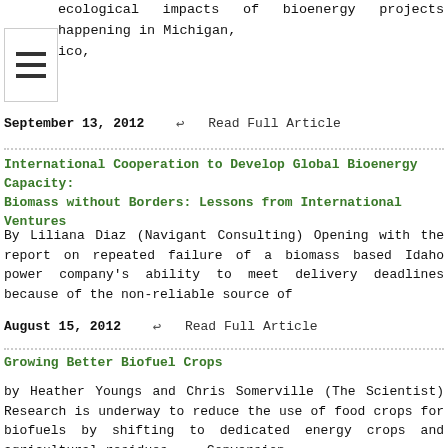ecological impacts of bioenergy projects happening in Michigan, ico,
September 13, 2012 ↩ Read Full Article
International Cooperation to Develop Global Bioenergy Capacity: Biomass without Borders: Lessons from International Ventures
By Liliana Diaz (Navigant Consulting) Opening with the report on repeated failure of a biomass based Idaho power company's ability to meet delivery deadlines because of the non-reliable source of
August 15, 2012 ↩ Read Full Article
Growing Better Biofuel Crops
by Heather Youngs and Chris Somerville (The Scientist) Research is underway to reduce the use of food crops for biofuels by shifting to dedicated energy crops and agricultural residues. ...Conversion
July 5, 2012 ↩ Read Full Article
Mallee Harvester Reaches Milestones